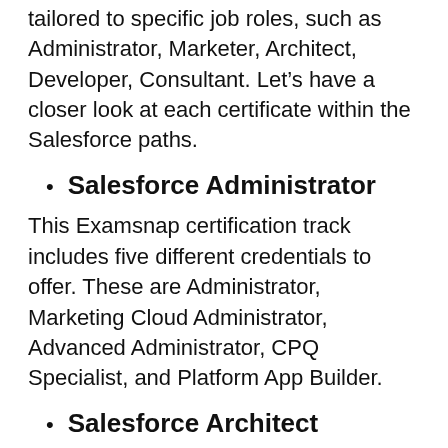tailored to specific job roles, such as Administrator, Marketer, Architect, Developer, Consultant. Let's have a closer look at each certificate within the Salesforce paths.
Salesforce Administrator
This Examsnap certification track includes five different credentials to offer. These are Administrator, Marketing Cloud Administrator, Advanced Administrator, CPQ Specialist, and Platform App Builder.
Salesforce Architect
This path has also five certifications within it. These include Application Architect, B2C Commerce Architect, System Architect,